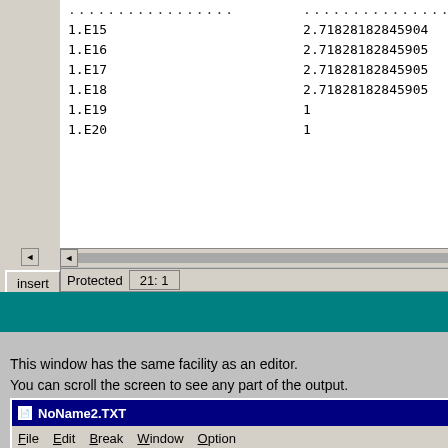[Figure (screenshot): Top portion of a spreadsheet/editor window showing scientific notation values in two columns. Left column shows exponent values (1.E15 through 1.E20), right column shows computed values (2.71828182845904, 2.71828182845905, 2.71828182845905, 2.71828182845905, 1, 1). Bottom has scrollbar, Insert button, Protected status bar showing 21:1.]
This window has the same facility as an editor.
You can scroll the screen to see any part of the output.
A result can be saved to a file or handed over to another application b
[Figure (screenshot): NoName2.TXT editor window showing computed values. Left column: 10, 100, 1000, 10000, 100000. Right column: 2.5937424601, 2.70481382942153, 2.71692393223589, 2.71814592682522, 2.71826823717449. Cursor visible after 2.71692393223589.]